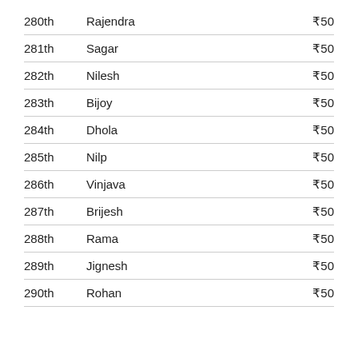| Rank | Name | Amount |
| --- | --- | --- |
| 280th | Rajendra | ₹50 |
| 281th | Sagar | ₹50 |
| 282th | Nilesh | ₹50 |
| 283th | Bijoy | ₹50 |
| 284th | Dhola | ₹50 |
| 285th | Nilp | ₹50 |
| 286th | Vinjava | ₹50 |
| 287th | Brijesh | ₹50 |
| 288th | Rama | ₹50 |
| 289th | Jignesh | ₹50 |
| 290th | Rohan | ₹50 |